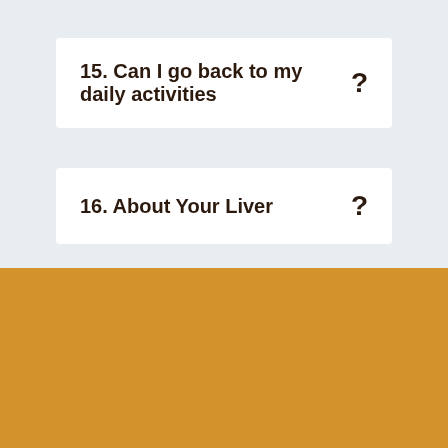15. Can I go back to my daily activities ?
16. About Your Liver ?